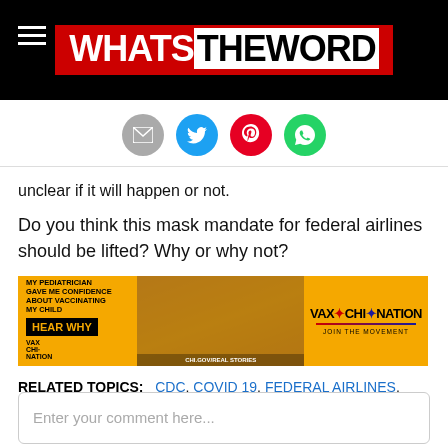WHATS THE WORD
[Figure (infographic): Social sharing icons row: email (grey), Twitter (blue), Pinterest (red), WhatsApp (green)]
unclear if it will happen or not.
Do you think this mask mandate for federal airlines should be lifted? Why or why not?
[Figure (infographic): VAX CHI NATION advertisement banner with text: MY PEDIATRICIAN GAVE ME CONFIDENCE ABOUT VACCINATING MY CHILD. HEAR WHY. CHI.GOV/REAL STORIES. VAX CHI NATION JOIN THE MOVEMENT.]
RELATED TOPICS: CDC, COVID 19, FEDERAL AIRLINES, NEWS, TSA